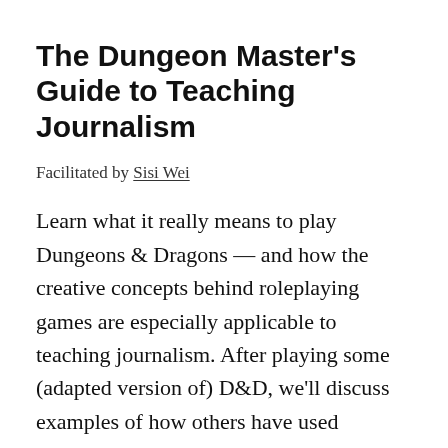The Dungeon Master's Guide to Teaching Journalism
Facilitated by Sisi Wei
Learn what it really means to play Dungeons & Dragons — and how the creative concepts behind roleplaying games are especially applicable to teaching journalism. After playing some (adapted version of) D&D, we'll discuss examples of how others have used roleplaying to teach, which lessons lend themselves to roleplaying, and finally, create as a group a lesson plan for